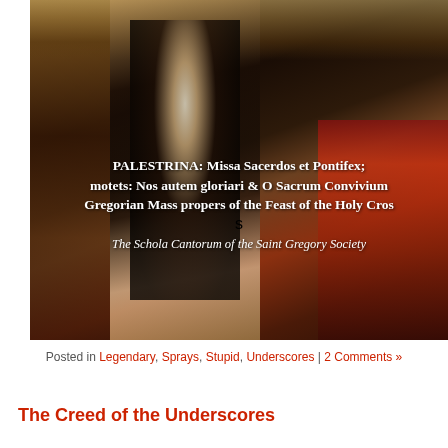[Figure (illustration): Renaissance painting showing ecclesiastical figures in robes — a kneeling priest looking upward, a seated cardinal or pope in red vestments, and other clergy. Overlaid with white text identifying a Palestrina recording.]
PALESTRINA: Missa Sacerdos et Pontifex; motets: Nos autem gloriari & O Sacrum Convivium; Gregorian Mass propers of the Feast of the Holy Cross. The Schola Cantorum of the Saint Gregory Society
Posted in Legendary, Sprays, Stupid, Underscores | 2 Comments »
The Creed of the Underscores